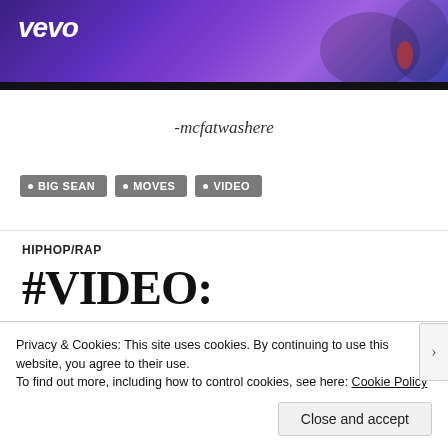[Figure (screenshot): Vevo video thumbnail/banner with purple gradient background and white Vevo logo, two figures visible]
-mcfatwashere
• BIG SEAN  • MOVES  • VIDEO
HIPHOP/RAP
#VIDEO: #BIGSEAN
Privacy & Cookies: This site uses cookies. By continuing to use this website, you agree to their use.
To find out more, including how to control cookies, see here: Cookie Policy
Close and accept